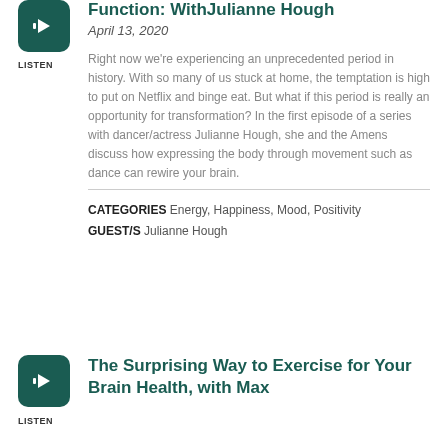[Figure (other): Audio listen button icon - dark teal rounded square with speaker/audio icon]
LISTEN
Function: WithJulianne Hough
April 13, 2020
Right now we're experiencing an unprecedented period in history. With so many of us stuck at home, the temptation is high to put on Netflix and binge eat. But what if this period is really an opportunity for transformation? In the first episode of a series with dancer/actress Julianne Hough, she and the Amens discuss how expressing the body through movement such as dance can rewire your brain.
CATEGORIES Energy, Happiness, Mood, Positivity
GUEST/S Julianne Hough
[Figure (other): Audio listen button icon - dark teal rounded square with speaker/audio icon]
LISTEN
The Surprising Way to Exercise for Your Brain Health, with Max